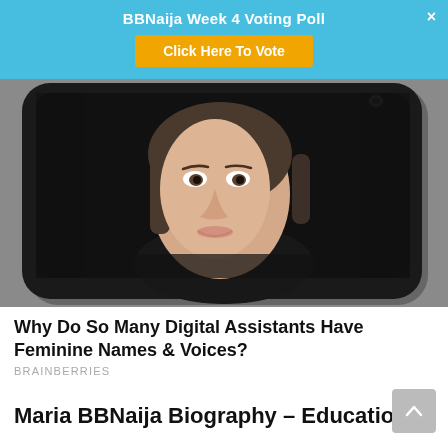BBNaija Week 4 Voting Poll — Click Here To Vote
[Figure (photo): Surrealist photograph of a young woman's face emerging from the screen of a flat black smartphone lying on a grey surface, creating an illusion of the face breaking through the phone screen.]
Why Do So Many Digital Assistants Have Feminine Names & Voices?
BRAINBERRIES
Maria BBNaija Biography – Education